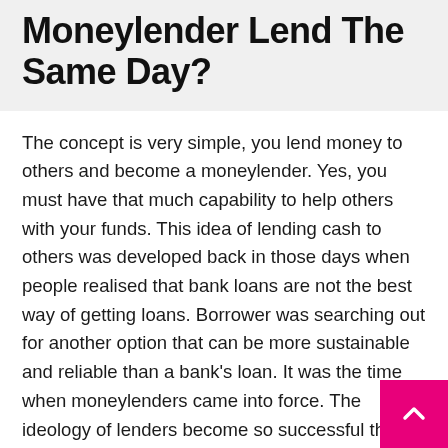Moneylender Lend The Same Day?
The concept is very simple, you lend money to others and become a moneylender. Yes, you must have that much capability to help others with your funds. This idea of lending cash to others was developed back in those days when people realised that bank loans are not the best way of getting loans. Borrower was searching out for another option that can be more sustainable and reliable than a bank's loan. It was the time when moneylenders came into force. The ideology of lenders become so successful that even the bank was started asking for money from the...